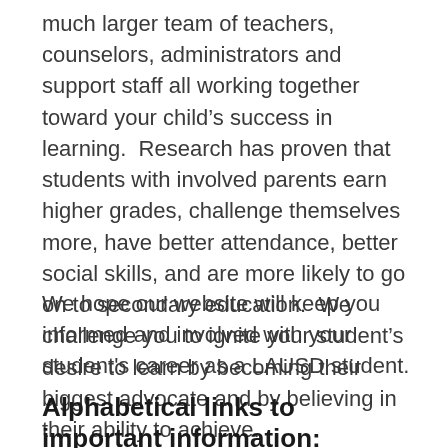much larger team of teachers, counselors, administrators and support staff all working together toward your child's success in learning.  Research has proven that students with involved parents earn higher grades, challenge themselves more, have better attendance, better social skills, and are more likely to go on to secondary education.  We challenge you to ignite your student's desire to learn by becoming their biggest advocate and by believing in their ability to achieve.
We hope our website will keep you informed and involved with your student's career as a LAUSD student.
Alphabetical links to important information: